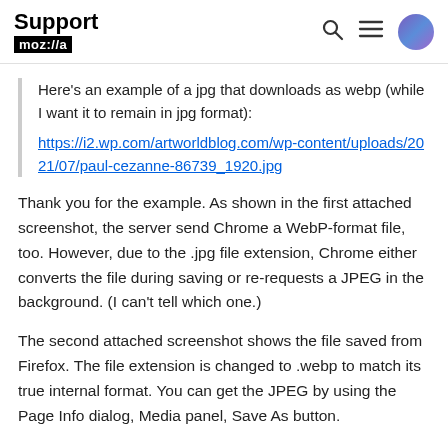Support mozilla
Here's an example of a jpg that downloads as webp (while I want it to remain in jpg format): https://i2.wp.com/artworldblog.com/wp-content/uploads/2021/07/paul-cezanne-86739_1920.jpg
Thank you for the example. As shown in the first attached screenshot, the server send Chrome a WebP-format file, too. However, due to the .jpg file extension, Chrome either converts the file during saving or re-requests a JPEG in the background. (I can't tell which one.)
The second attached screenshot shows the file saved from Firefox. The file extension is changed to .webp to match its true internal format. You can get the JPEG by using the Page Info dialog, Media panel, Save As button.